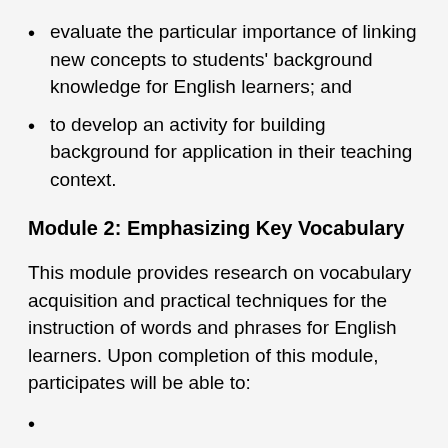evaluate the particular importance of linking new concepts to students' background knowledge for English learners; and
to develop an activity for building background for application in their teaching context.
Module 2: Emphasizing Key Vocabulary
This module provides research on vocabulary acquisition and practical techniques for the instruction of words and phrases for English learners. Upon completion of this module, participates will be able to: